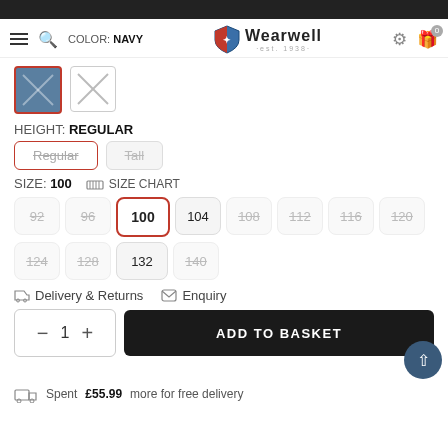Wearwell est. 1938 — Navigation header with logo, hamburger menu, search, settings, and cart (0)
COLOR: NAVY
[Figure (illustration): Two color swatches: first is navy blue (selected, red border), second is empty/unavailable (X cross, grey border)]
HEIGHT: REGULAR
Regular (selected, red border, strikethrough)
Tall (unselected, strikethrough)
SIZE: 100  SIZE CHART
92 (unavailable, strikethrough)
96 (unavailable, strikethrough)
100 (selected, red border)
104 (available)
108 (unavailable, strikethrough)
112 (unavailable, strikethrough)
116 (unavailable, strikethrough)
120 (unavailable, strikethrough)
124 (unavailable, strikethrough)
128 (unavailable, strikethrough)
132 (available)
140 (unavailable, strikethrough)
Delivery & Returns   Enquiry
− 1 +   ADD TO BASKET
Spent £55.99 more for free delivery